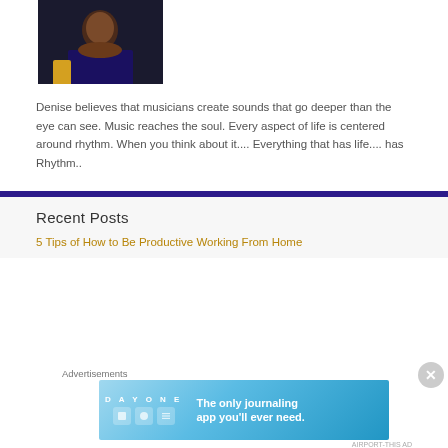[Figure (photo): Photo of Denise, a woman seated, wearing dark clothing with a bracelet, photographed indoors]
Denise believes that musicians create sounds that go deeper than the eye can see. Music reaches the soul. Every aspect of life is centered around rhythm. When you think about it.... Everything that has life.... has Rhythm..
Recent Posts
5 Tips of How to Be Productive Working From Home
Advertisements
[Figure (illustration): Day One journaling app advertisement banner with text: The only journaling app you'll ever need.]